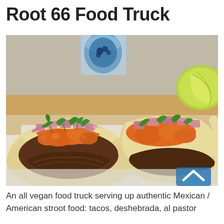Root 66 Food Truck
[Figure (photo): Close-up photo of two vegan tacos in soft tortillas topped with red onion, orange salsa, and fresh cilantro, with a lime wedge visible in the background and a blue branded cup.]
An all vegan food truck serving up authentic Mexican / American stroot food: tacos, deshebrada, al pastor